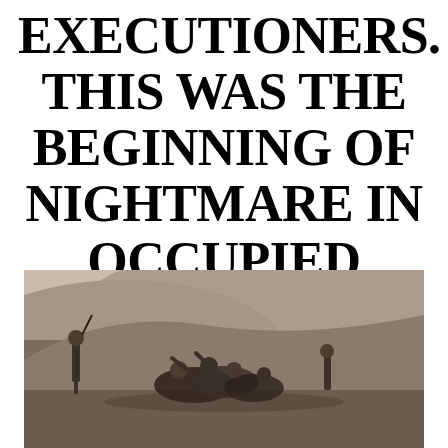EXECUTIONERS. THIS WAS THE BEGINNING OF NIGHTMARE IN OCCUPIED POLAND
[Figure (photo): A sepia-toned historical photograph showing soldiers and figures in an outdoor setting with a hillside in the background. Appears to depict an execution or forced march scene in occupied Poland during WWII.]